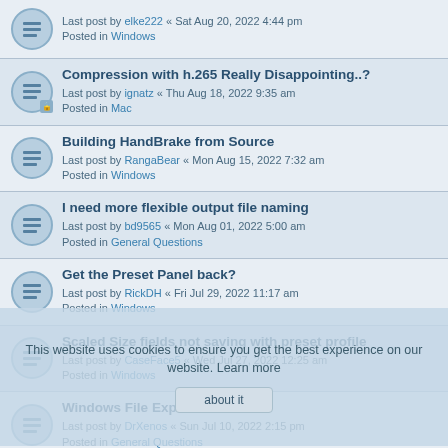Last post by elke222 « Sat Aug 20, 2022 4:44 pm
Posted in Windows
Compression with h.265 Really Disappointing..?
Last post by ignatz « Thu Aug 18, 2022 9:35 am
Posted in Mac
Building HandBrake from Source
Last post by RangaBear « Mon Aug 15, 2022 7:32 am
Posted in Windows
I need more flexible output file naming
Last post by bd9565 « Mon Aug 01, 2022 5:00 am
Posted in General Questions
Get the Preset Panel back?
Last post by RickDH « Fri Jul 29, 2022 11:17 am
Posted in Windows
Scaled Size fields not saving with preset profile
Last post by CaseFace5 « Wed Jul 27, 2022 12:25 am
Posted in Windows
Windows File Explorer Columns
Last post by DrXenos « Sun Jul 10, 2022 2:15 pm
Posted in General Questions
Reducción de velocidad procesador en Handbrake con AMD 5900.
Last post by jessanc « Fri Jul 01, 2022 11:20 am
Posted in Windows
No compression at all
Last post by BarbB « Fri Jun 24, 2022 10:42 pm